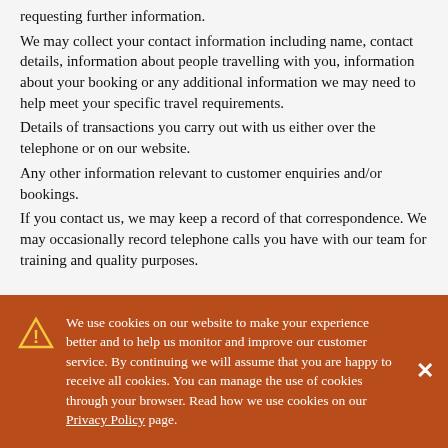requesting further information.
We may collect your contact information including name, contact details, information about people travelling with you, information about your booking or any additional information we may need to help meet your specific travel requirements.
Details of transactions you carry out with us either over the telephone or on our website.
Any other information relevant to customer enquiries and/or bookings.
If you contact us, we may keep a record of that correspondence. We may occasionally record telephone calls you have with our team for training and quality purposes.
We use cookies on our website to make your experience better and to help us monitor and improve our customer service. By continuing we will assume that you are happy to receive all cookies. You can manage the use of cookies through your browser. Read how we use cookies on our Privacy Policy page.